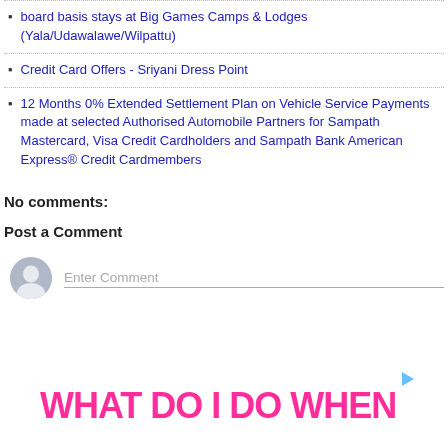board basis stays at Big Games Camps & Lodges (Yala/Udawalawe/Wilpattu)
Credit Card Offers - Sriyani Dress Point
12 Months 0% Extended Settlement Plan on Vehicle Service Payments made at selected Authorised Automobile Partners for Sampath Mastercard, Visa Credit Cardholders and Sampath Bank American Express® Credit Cardmembers
No comments:
Post a Comment
[Figure (other): User avatar placeholder (grey circle with person silhouette) and comment input field placeholder]
[Figure (other): Advertisement banner with pink bold text: WHAT DO I DO WHEN]